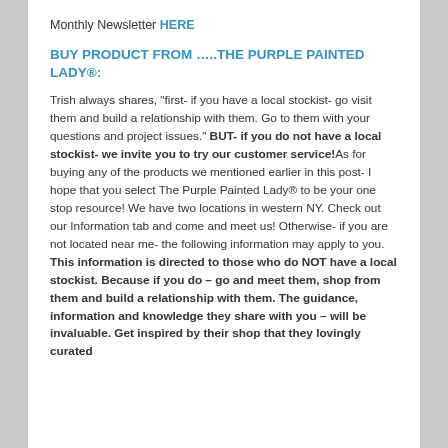Monthly Newsletter HERE
BUY PRODUCT FROM …..THE PURPLE PAINTED LADY®:
Trish always shares, “first- if you have a local stockist- go visit them and build a relationship with them.  Go to them with your questions and project issues.”  BUT- if you do not have a local stockist- we invite you to try our customer service!As for buying any of the products we mentioned earlier in this post- I hope that you select The Purple Painted Lady® to be your one stop resource!  We have two locations in western NY.  Check out our Information tab and come and meet us!  Otherwise- if you are not located near me- the following information may apply to you.   This information is directed to those who do NOT have a local stockist.  Because if you do – go and meet them, shop from them and build a relationship with them. The guidance, information and knowledge they share with you – will be invaluable.  Get inspired by their shop that they lovingly curated